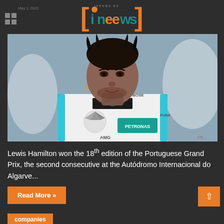ineews
[Figure (photo): Lewis Hamilton in white Mercedes-AMG Petronas F1 racing suit with Monster Energy, Puma, and Mercedes logos visible, looking to the side]
Lewis Hamilton won the 18th edition of the Portuguese Grand Prix, the second consecutive at the Autódromo Internacional do Algarve...
Read More »
companies